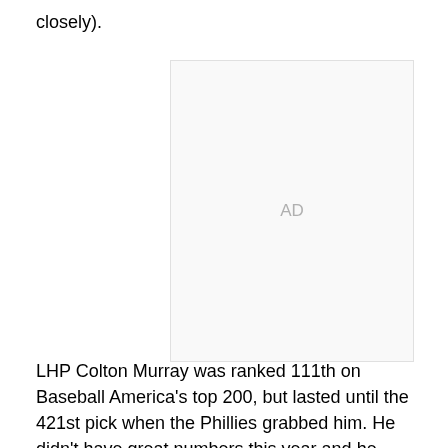closely).
[Figure (other): Advertisement placeholder box with 'AD' label in gray]
LHP Colton Murray was ranked 111th on Baseball America's top 200, but lasted until the 421st pick when the Phillies grabbed him. He didn't have great numbers this year and he pitched out of the bullpen, so I can see why he lasted, but quite a few pitchers worse than